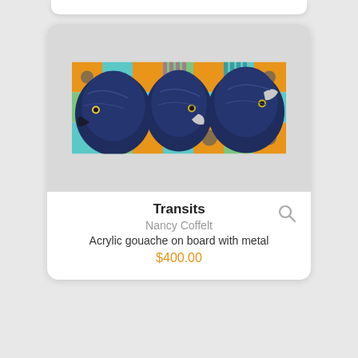[Figure (illustration): Painting of three crow/raven heads against a colorful geometric patchwork background of orange, teal, blue, yellow, and green squares and circles. Title: Transits by Nancy Coffelt.]
Transits
Nancy Coffelt
Acrylic gouache on board with metal
$400.00